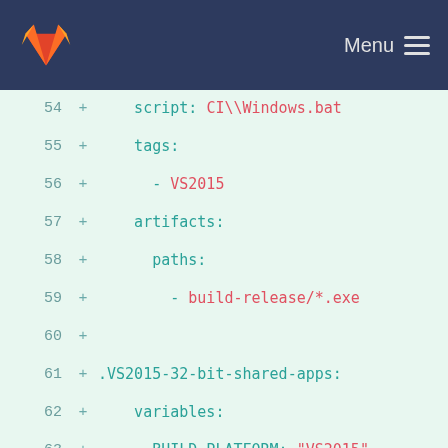GitLab — Menu
[Figure (screenshot): GitLab diff view showing YAML CI configuration code lines 54-73, with added lines (marked +) showing VS2015 build configuration including script, tags, artifacts, variables for .VS2015-32-bit-shared-apps job]